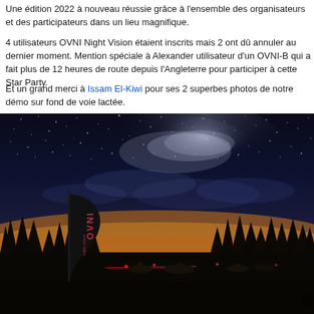Une édition 2022 à nouveau réussie grâce à l'ensemble des organisateurs et des participants dans un lieu magnifique.
4 utilisateurs OVNI Night Vision étaient inscrits mais 2 ont dû annuler au dernier moment. Mention spéciale à Alexander utilisateur d'un OVNI-B qui a fait plus de 12 heures de route depuis l'Angleterre pour participer à cette Star Party.
Et un grand merci à Issam El-Kiwi pour ses 2 superbes photos de notre démo sur fond de voie lactée.
[Figure (photo): Night sky photo showing the Milky Way galaxy above a dark landscape with silhouetted trees. In the foreground left is a tall black banner/flag displaying 'OVNI' branding (OVNI Night Vision logo). The ground shows red lights from torches/equipment and camping gear. The sky transitions from deep blue-black at top with stars and the Milky Way, to warm orange/golden near the horizon. Clouds are scattered across the mid-sky.]